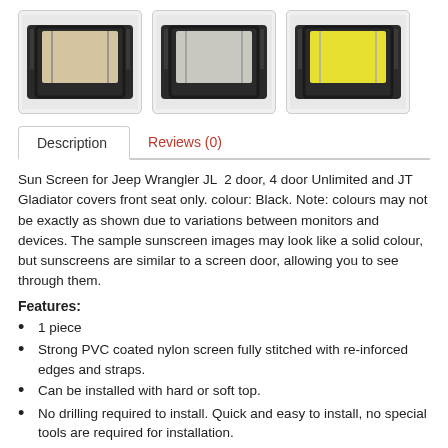[Figure (photo): Three product thumbnail images of sun screens for Jeep Wrangler JL, showing beige/tan, white/grey, and yellow color variants installed on vehicle]
Description   Reviews (0)
Sun Screen for Jeep Wrangler JL 2 door, 4 door Unlimited and JT Gladiator covers front seat only. colour: Black. Note: colours may not be exactly as shown due to variations between monitors and devices. The sample sunscreen images may look like a solid colour, but sunscreens are similar to a screen door, allowing you to see through them.
Features:
1 piece
Strong PVC coated nylon screen fully stitched with re-inforced edges and straps.
Can be installed with hard or soft top.
No drilling required to install. Quick and easy to install, no special tools are required for installation.
Covers area over front seats only. Hard top users will have to remove screen before re-installing the hard top.